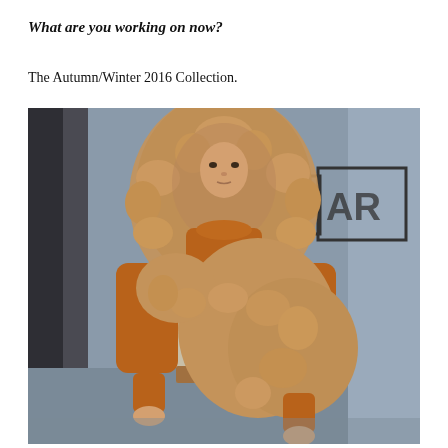What are you working on now?
The Autumn/Winter 2016 Collection.
[Figure (photo): Fashion runway photo of a model wearing a large voluminous fuzzy camel/tan fur-like hood and wrap/stole draped over a sleeveless textured beige vest and burnt orange turtleneck long-sleeve under-layer. The background is bluish-grey with a partially visible logo reading 'AR'. The model has her hair pulled back and gazes directly forward.]